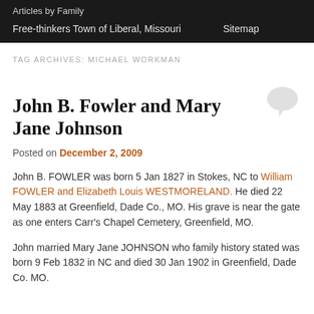Articles by Family
Free-thinkers Town of Liberal, Missouri    Sitemap
TAG ARCHIVES: MICHAEL WORKMAN
John B. Fowler and Mary Jane Johnson
Posted on December 2, 2009
John B. FOWLER was born 5 Jan 1827 in Stokes, NC to William FOWLER and Elizabeth Louis WESTMORELAND. He died 22 May 1883 at Greenfield, Dade Co., MO. His grave is near the gate as one enters Carr's Chapel Cemetery, Greenfield, MO.
John married Mary Jane JOHNSON who family history stated was born 9 Feb 1832 in NC and died 30 Jan 1902 in Greenfield, Dade Co. MO.